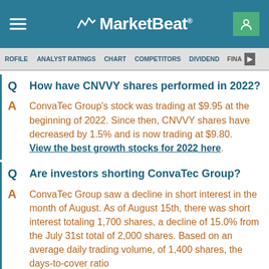MarketBeat
PROFILE  ANALYST RATINGS  CHART  COMPETITORS  DIVIDEND  FINANCIALS
Q  How have CNVVY shares performed in 2022?
A  ConvaTec Group's stock was trading at $9.95 at the beginning of 2022. Since then, CNVVY shares have decreased by 1.5% and is now trading at $9.80. View the best growth stocks for 2022 here.
Q  Are investors shorting ConvaTec Group?
A  ConvaTec Group saw a decline in short interest in the month of August. As of August 15th, there was short interest totaling 1,700 shares, a decline of 15.0% from the July 31st total of 2,000 shares. Based on an average daily trading volume, of 1,400 shares, the days-to-cover ratio